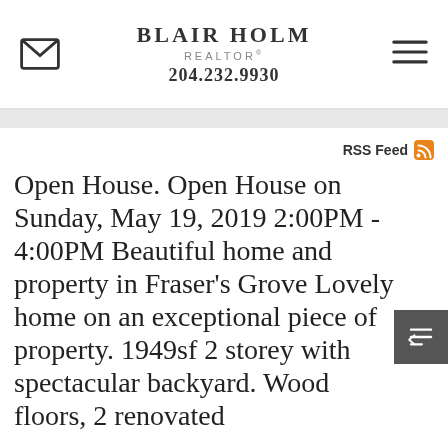BLAIR HOLM REALTOR® 204.232.9930
RSS Feed
Open House. Open House on Sunday, May 19, 2019 2:00PM - 4:00PM Beautiful home and property in Fraser's Grove Lovely home on an exceptional piece of property. 1949sf 2 storey with spectacular backyard. Wood floors, 2 renovated